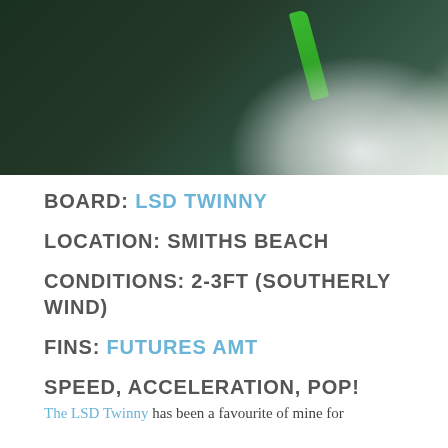[Figure (photo): Aerial or top-down photograph of a surfer riding a wave, with a green fin visible and white spray/foam against dark ocean water]
BOARD: LSD TWINNY
LOCATION: SMITHS BEACH
CONDITIONS: 2-3FT (SOUTHERLY WIND)
FINS: FUTURES AMT
SPEED, ACCELERATION, POP!
The LSD Twinny has been a favourite of mine for